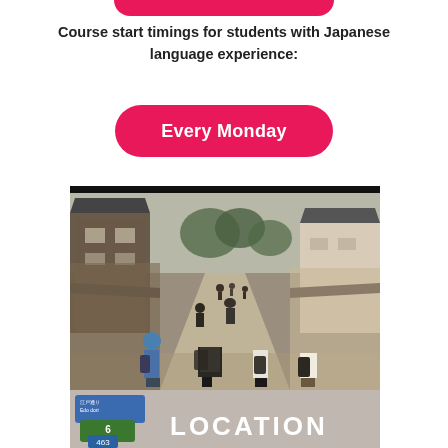[Figure (other): Pink rounded button stub at top of page (partial, cropped)]
Course start timings for students with Japanese language experience:
[Figure (other): Pink rounded button with white bold text 'Every Monday']
[Figure (photo): Photo of people walking down a traditional Japanese street with wooden buildings and shops on both sides, trees in background, taken from behind]
LOCATION